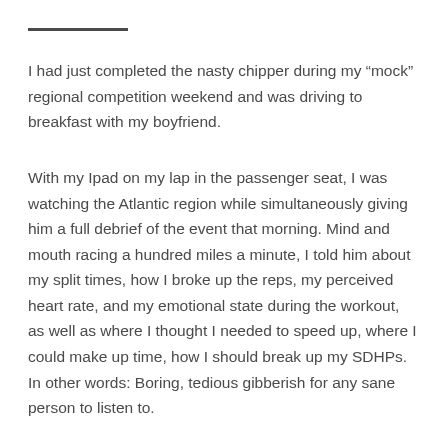I had just completed the nasty chipper during my “mock” regional competition weekend and was driving to breakfast with my boyfriend.
With my Ipad on my lap in the passenger seat, I was watching the Atlantic region while simultaneously giving him a full debrief of the event that morning. Mind and mouth racing a hundred miles a minute, I told him about my split times, how I broke up the reps, my perceived heart rate, and my emotional state during the workout, as well as where I thought I needed to speed up, where I could make up time, how I should break up my SDHPs. In other words: Boring, tedious gibberish for any sane person to listen to.